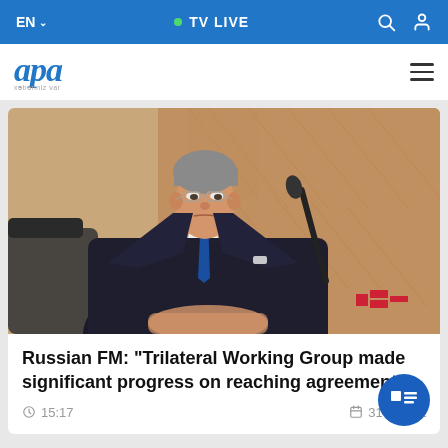EN  TV LIVE
[Figure (logo): APA news agency logo with italic blue text 'apa' and tagline 'xəbəriniz var']
[Figure (photo): Photo of Russian Foreign Minister Sergei Lavrov in a dark suit with blue tie, seated at a conference table with a microphone, looking serious. Warm wood-paneled background.]
Russian FM: "Trilateral Working Group made significant progress on reaching agreement"
15:17   31 August